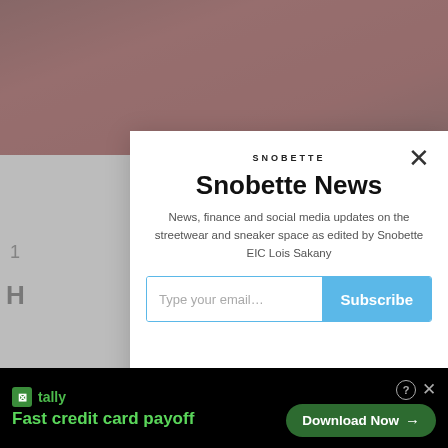[Figure (screenshot): Background of a dimmed website page showing a reddish-toned image at top and partial content below]
SNOBETTE
Snobette News
News, finance and social media updates on the streetwear and sneaker space as edited by Snobette EIC Lois Sakany
Type your email…
Subscribe
⊠ substack
⊠ tally  Fast credit card payoff
Download Now →